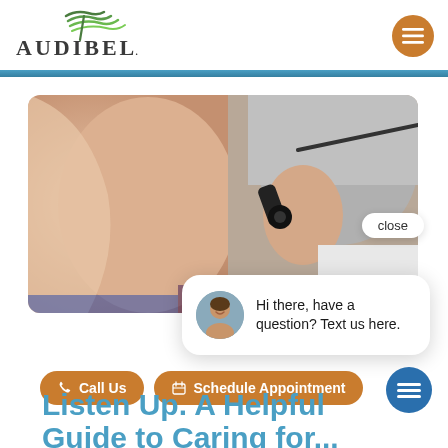[Figure (logo): Audibel logo with green wave graphic and serif text]
[Figure (photo): Close-up photo of a doctor examining an elderly patient's ear with an otoscope]
close
Hi there, have a question? Text us here.
Call Us
Schedule Appointment
Listen Up. A Helpful Guide to Caring for...